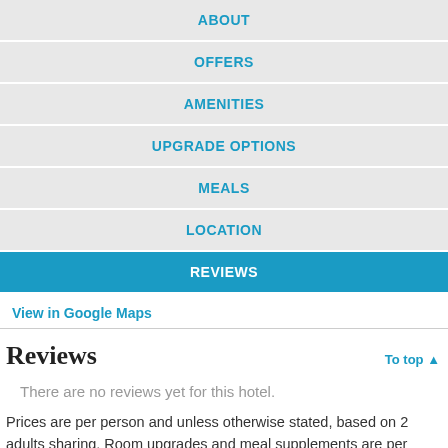ABOUT
OFFERS
AMENITIES
UPGRADE OPTIONS
MEALS
LOCATION
REVIEWS
View in Google Maps
Reviews
There are no reviews yet for this hotel.
Prices are per person and unless otherwise stated, based on 2 adults sharing. Room upgrades and meal supplements are per